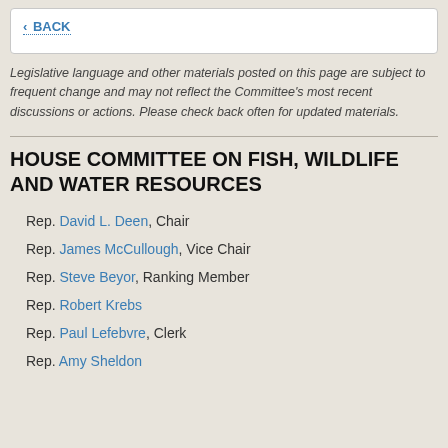< BACK
Legislative language and other materials posted on this page are subject to frequent change and may not reflect the Committee's most recent discussions or actions. Please check back often for updated materials.
HOUSE COMMITTEE ON FISH, WILDLIFE AND WATER RESOURCES
Rep. David L. Deen, Chair
Rep. James McCullough, Vice Chair
Rep. Steve Beyor, Ranking Member
Rep. Robert Krebs
Rep. Paul Lefebvre, Clerk
Rep. Amy Sheldon